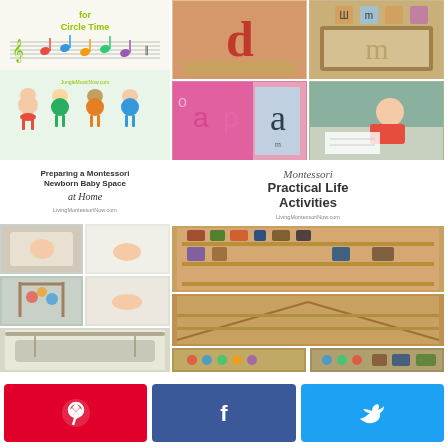[Figure (photo): Top-left collage: text 'for Circle Time' with music notes and cartoon children, Montessori circle time activities]
[Figure (photo): Top-right 2x2 photo grid: Montessori letter/phonics materials and activities - sandpaper letters, letter tiles, sand tray, child writing]
[Figure (photo): Bottom-left collage: 'Preparing a Montessori Newborn Baby Space at Home' with LivingMontessoriNow.com, multiple photos of newborn baby spaces]
[Figure (photo): Bottom-right collage: 'Montessori Practical Life Activities' with LivingMontessoriNow.com, photos of Montessori shelves with practical life materials]
[Figure (infographic): Social sharing buttons bar: Pinterest (red), Facebook (blue), Twitter (light blue)]